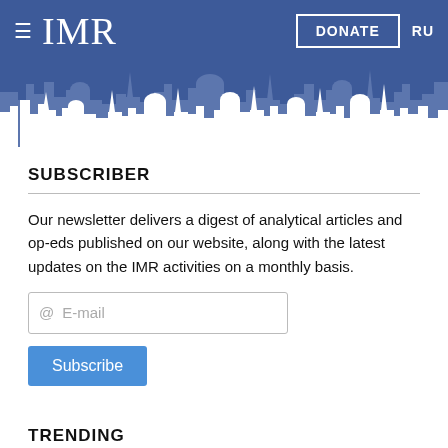≡ IMR   DONATE   RU
[Figure (illustration): City skyline silhouette banner with white building outlines on a blue background, showing various architectural styles including domes and towers.]
SUBSCRIBER
Our newsletter delivers a digest of analytical articles and op-eds published on our website, along with the latest updates on the IMR activities on a monthly basis.
@ E-mail
Subscribe
TRENDING
NEWS